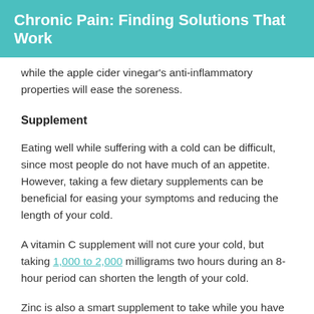Chronic Pain: Finding Solutions That Work
while the apple cider vinegar's anti-inflammatory properties will ease the soreness.
Supplement
Eating well while suffering with a cold can be difficult, since most people do not have much of an appetite. However, taking a few dietary supplements can be beneficial for easing your symptoms and reducing the length of your cold.
A vitamin C supplement will not cure your cold, but taking 1,000 to 2,000 milligrams two hours during an 8-hour period can shorten the length of your cold.
Zinc is also a smart supplement to take while you have a cold or the flu. Not only does it help reduce mucous buildup, but it also improves your immune